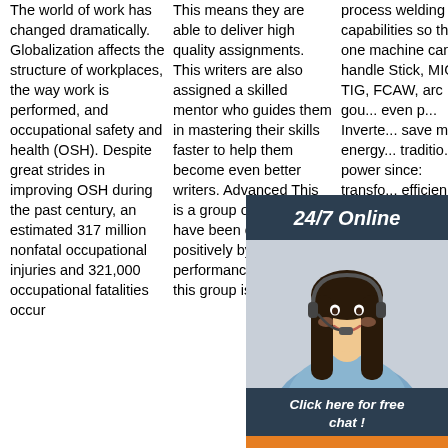The world of work has changed dramatically. Globalization affects the structure of workplaces, the way work is performed, and occupational safety and health (OSH). Despite great strides in improving OSH during the past century, an estimated 317 million nonfatal occupational injuries and 321,000 occupational fatalities occur
This means they are able to deliver high quality assignments. This writers are also assigned a skilled mentor who guides them in mastering their skills faster to help them become even better writers. Advanced This is a group of writers who have been commended positively by clients. The performance of writers in this group is evaluated
process welding capabilities so that one machine can handle Stick, MIG, TIG, FCAW, arc gou... even p... Inverte... save m... energy... traditio... power since: transfo... efficien... realize... the use of ferrite cores in the inverter ...
[Figure (photo): Chat support agent photo with dark hair, wearing headset, smiling, in a blue top. Dark overlay with '24/7 Online' header, 'Click here for free chat!' text, orange QUOTATION button.]
[Figure (other): Orange 'Get Price' button in bottom left of right column. Orange triangle/arrow TOP icon in bottom right.]